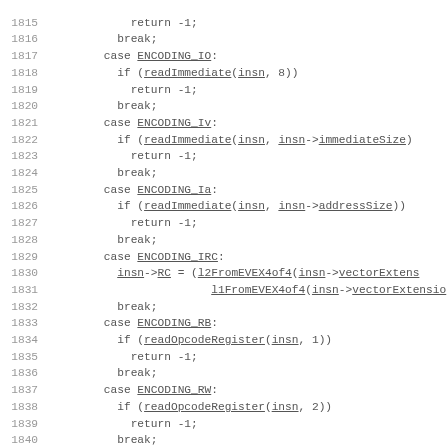Source code listing lines 1815-1844 showing switch-case statements for ENCODING_IO, ENCODING_Iv, ENCODING_Ia, ENCODING_IRC, ENCODING_RB, ENCODING_RW, ENCODING_RD cases with function calls readImmediate, readOpcodeRegister, l2FromEVEX4of4, l1FromEVEX4of4